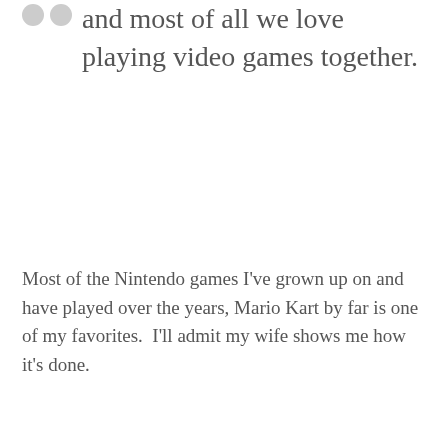and most of all we love playing video games together.
Most of the Nintendo games I've grown up on and have played over the years, Mario Kart by far is one of my favorites.  I'll admit my wife shows me how it's done.